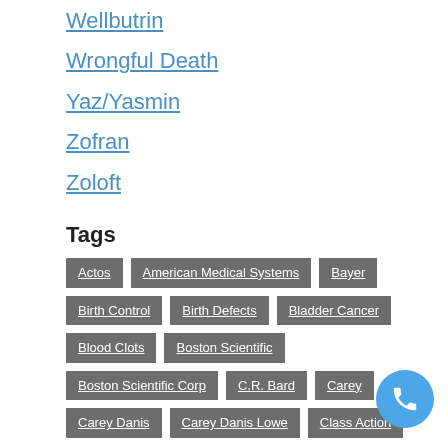Wellbutrin
Wrongful Death
Yaz/Yasmin
Zofran
Zoloft
Tags
Actos | American Medical Systems | Bayer | Birth Control | Birth Defects | Bladder Cancer | Blood Clots | Boston Scientific | Boston Scientific Corp | C.R. Bard | Carey | Carey Danis | Carey Danis Lowe | Class Action